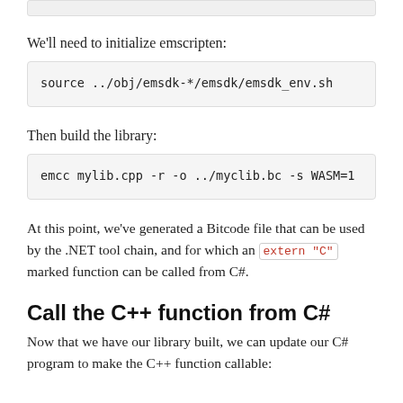We'll need to initialize emscripten:
source ../obj/emsdk-*/emsdk/emsdk_env.sh
Then build the library:
emcc mylib.cpp -r -o ../myclib.bc -s WASM=1
At this point, we've generated a Bitcode file that can be used by the .NET tool chain, and for which an extern "C" marked function can be called from C#.
Call the C++ function from C#
Now that we have our library built, we can update our C# program to make the C++ function callable: